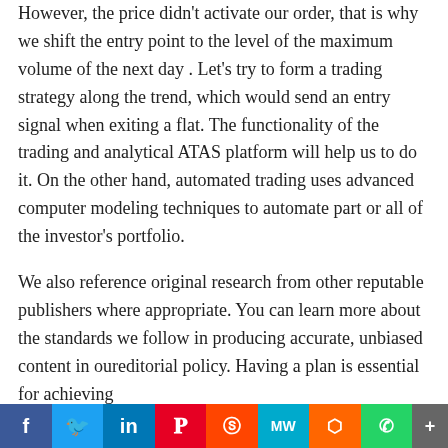However, the price didn't activate our order, that is why we shift the entry point to the level of the maximum volume of the next day . Let's try to form a trading strategy along the trend, which would send an entry signal when exiting a flat. The functionality of the trading and analytical ATAS platform will help us to do it. On the other hand, automated trading uses advanced computer modeling techniques to automate part or all of the investor's portfolio.
We also reference original research from other reputable publishers where appropriate. You can learn more about the standards we follow in producing accurate, unbiased content in oureditorial policy. Having a plan is essential for achieving